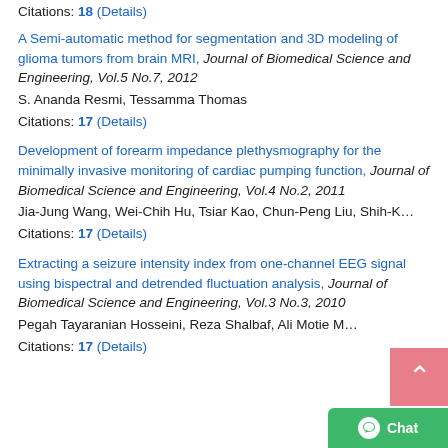Citations: 18 (Details)
A Semi-automatic method for segmentation and 3D modeling of glioma tumors from brain MRI, Journal of Biomedical Science and Engineering, Vol.5 No.7, 2012
S. Ananda Resmi, Tessamma Thomas
Citations: 17 (Details)
Development of forearm impedance plethysmography for the minimally invasive monitoring of cardiac pumping function, Journal of Biomedical Science and Engineering, Vol.4 No.2, 2011
Jia-Jung Wang, Wei-Chih Hu, Tsiar Kao, Chun-Peng Liu, Shih-K...
Citations: 17 (Details)
Extracting a seizure intensity index from one-channel EEG signal using bispectral and detrended fluctuation analysis, Journal of Biomedical Science and Engineering, Vol.3 No.3, 2010
Pegah Tayaranian Hosseini, Reza Shalbaf, Ali Motie M...
Citations: 17 (Details)